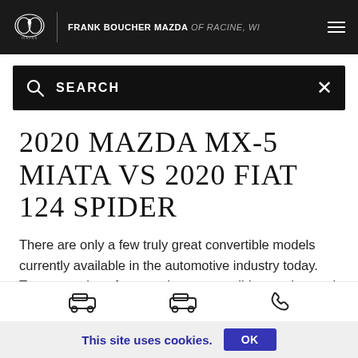FRANK BOUCHER MAZDA OF RACINE, WI
[Figure (screenshot): Search bar with magnifying glass icon and X close button on dark background]
2020 MAZDA MX-5 MIATA VS 2020 FIAT 124 SPIDER
There are only a few truly great convertible models currently available in the automotive industry today. Two examples of tremendous convertibles on the road today are the 2020 Mazda MX-5 Miata and the 2020 FIAT 124 Spider. Both the
[Figure (infographic): Bottom navigation bar with car icons and phone icon]
This site uses cookies.